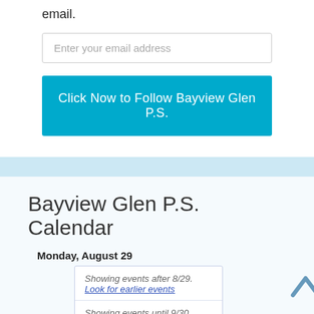email.
Enter your email address
Click Now to Follow Bayview Glen P.S.
Bayview Glen P.S. Calendar
Monday, August 29
Showing events after 8/29. Look for earlier events
Showing events until 9/30. Look for more